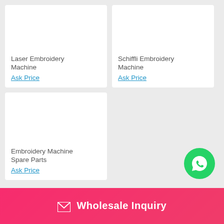Laser Embroidery Machine
Ask Price
Schiffli Embroidery Machine
Ask Price
Embroidery Machine Spare Parts
Ask Price
[Figure (logo): WhatsApp icon button (green circle with phone/speech bubble icon)]
Wholesale Inquiry